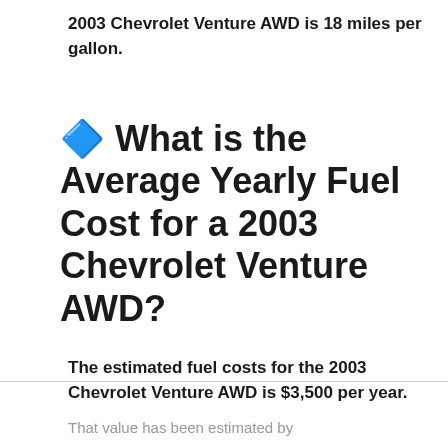2003 Chevrolet Venture AWD is 18 miles per gallon.
🔷 What is the Average Yearly Fuel Cost for a 2003 Chevrolet Venture AWD?
The estimated fuel costs for the 2003 Chevrolet Venture AWD is $3,500 per year.
That value has been estimated by